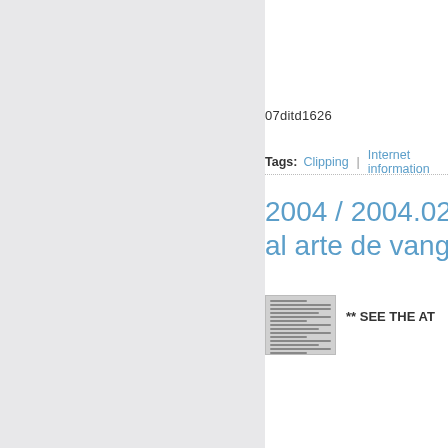07ditd1626
Tags:  Clipping  |  Internet information
2004 / 2004.02. 2  al arte de vangua
[Figure (photo): Small thumbnail of a newspaper clipping document]
** SEE THE AT